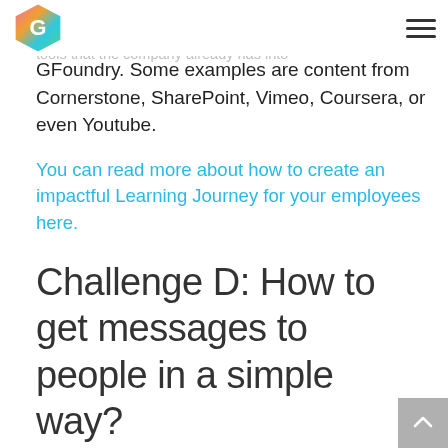GFoundry logo and navigation menu
Finally, you can also attribute this Organization to integrate external content from other tools that the company already has into GFoundry. Some examples are content from Cornerstone, SharePoint, Vimeo, Coursera, or even Youtube.
You can read more about how to create an impactful Learning Journey for your employees here.
Challenge D: How to get messages to people in a simple way?